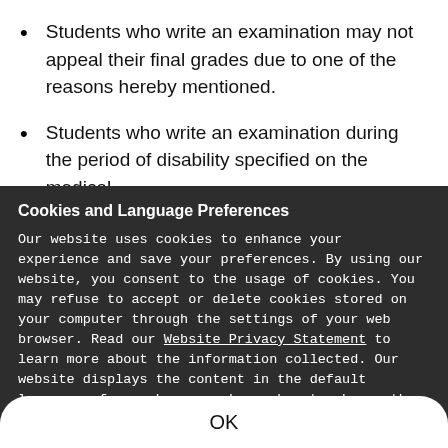Students who write an examination may not appeal their final grades due to one of the reasons hereby mentioned.
Students who write an examination during the period of disability specified on the medical
Cookies and Language Preferences
Our website uses cookies to enhance your experience and save your preferences. By using our website, you consent to the usage of cookies. You may refuse to accept or delete cookies stored on your computer through the settings of your web browser. Read our Website Privacy Statement to learn more about the information collected. Our website displays the content in the default language of your browser. Learn how to change the language of your browser.
OK